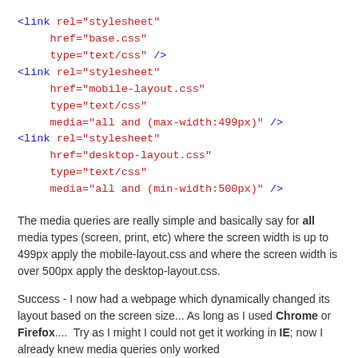<link rel="stylesheet"
     href="base.css"
     type="text/css" />
<link rel="stylesheet"
     href="mobile-layout.css"
     type="text/css"
     media="all and (max-width:499px)" />
<link rel="stylesheet"
     href="desktop-layout.css"
     type="text/css"
     media="all and (min-width:500px)" />
The media queries are really simple and basically say for all media types (screen, print, etc) where the screen width is up to 499px apply the mobile-layout.css and where the screen width is over 500px apply the desktop-layout.css.
Success - I now had a webpage which dynamically changed its layout based on the screen size... As long as I used Chrome or Firefox....  Try as I might I could not get it working in IE; now I already knew media queries only worked